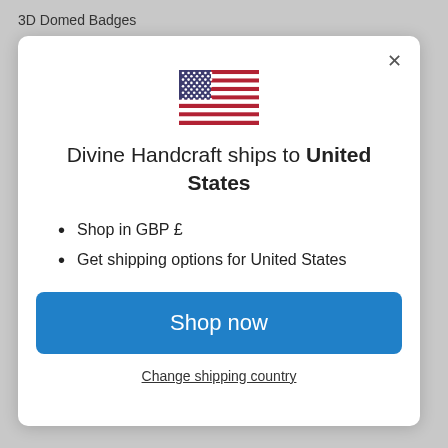3D Domed Badges
[Figure (illustration): US flag emoji/icon centered in modal dialog]
Divine Handcraft ships to United States
Shop in GBP £
Get shipping options for United States
Shop now
Change shipping country